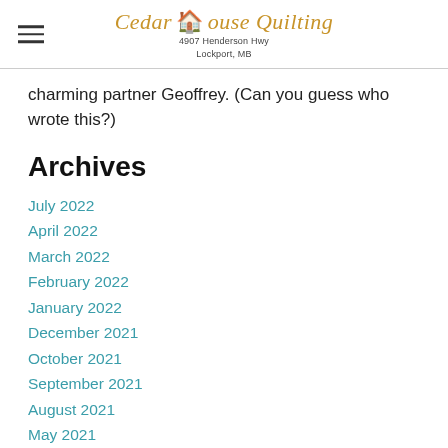Cedar House Quilting
4907 Henderson Hwy
Lockport, MB
charming partner Geoffrey. (Can you guess who wrote this?)
Archives
July 2022
April 2022
March 2022
February 2022
January 2022
December 2021
October 2021
September 2021
August 2021
May 2021
April 2021
March 2021
February 2021